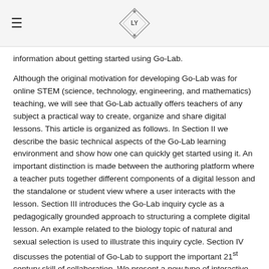≡  [logo]
information about getting started using Go-Lab.
Although the original motivation for developing Go-Lab was for online STEM (science, technology, engineering, and mathematics) teaching, we will see that Go-Lab actually offers teachers of any subject a practical way to create, organize and share digital lessons. This article is organized as follows. In Section II we describe the basic technical aspects of the Go-Lab learning environment and show how one can quickly get started using it. An important distinction is made between the authoring platform where a teacher puts together different components of a digital lesson and the standalone or student view where a user interacts with the lesson. Section III introduces the Go-Lab inquiry cycle as a pedagogically grounded approach to structuring a complete digital lesson. An example related to the biology topic of natural and sexual selection is used to illustrate this inquiry cycle. Section IV discusses the potential of Go-Lab to support the important 21st century skill of collaboration. We present a new type of interactive simulation for developing students' collaboration skills. Finally, we conclude the article with some thoughts on where Go-Lab may